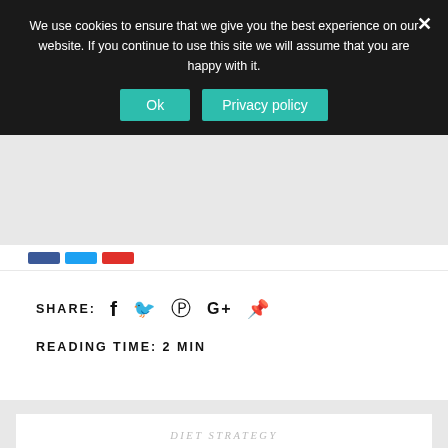We use cookies to ensure that we give you the best experience on our website. If you continue to use this site we will assume that you are happy with it.
SHARE: [social icons: Facebook, Twitter, Pinterest, Google+, StumbleUpon]
READING TIME: 2 MIN
DIET STRATEGY
Essential diet strategies to help you lose weight
MARCH 22, 2021